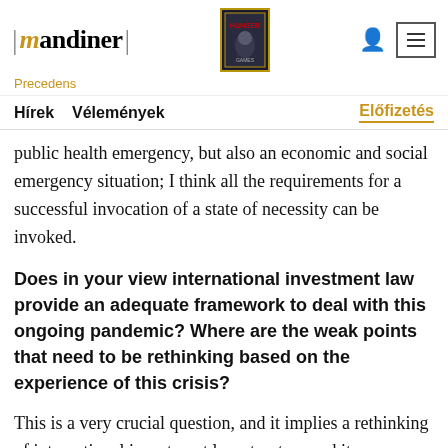| mandiner | Precedens
Hírek  Vélemények  Előfizetés
public health emergency, but also an economic and social emergency situation; I think all the requirements for a successful invocation of a state of necessity can be invoked.
Does in your view international investment law provide an adequate framework to deal with this ongoing pandemic? Where are the weak points that need to be rethinking based on the experience of this crisis?
This is a very crucial question, and it implies a rethinking of international investment law structure and its application. International investment law provides a range of instruments that can be used during emergency situations; they are meant to be used as a justification for